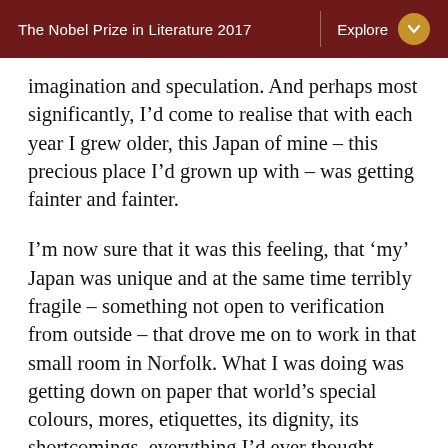The Nobel Prize in Literature 2017   Explore
imagination and speculation. And perhaps most significantly, I’d come to realise that with each year I grew older, this Japan of mine – this precious place I’d grown up with – was getting fainter and fainter.
I’m now sure that it was this feeling, that ‘my’ Japan was unique and at the same time terribly fragile – something not open to verification from outside – that drove me on to work in that small room in Norfolk. What I was doing was getting down on paper that world’s special colours, mores, etiquettes, its dignity, its shortcomings, everything I’d ever thought about the place, before they faded forever from my mind. It was my wish to re-build my Japan in fiction, to make it safe, so that I could thereafter